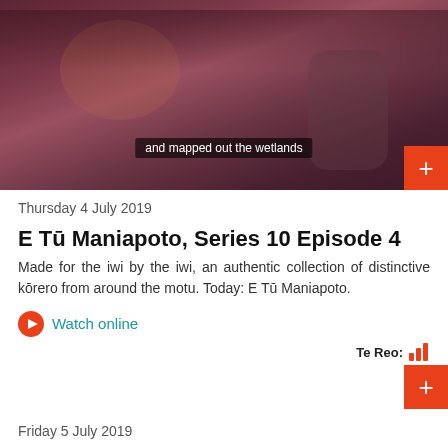[Figure (photo): Video thumbnail showing people in a room, with subtitle text 'and mapped out the wetlands' overlaid. A red plus button in bottom right corner.]
Thursday 4 July 2019
E Tū Maniapoto, Series 10 Episode 4
Made for the iwi by the iwi, an authentic collection of distinctive kōrero from around the motu. Today: E Tū Maniapoto.
Watch online
Te Reo:
Friday 5 July 2019
E Tū Maniapoto, Series 10 Episode 5
Made for the iwi by the iwi, an authentic collection